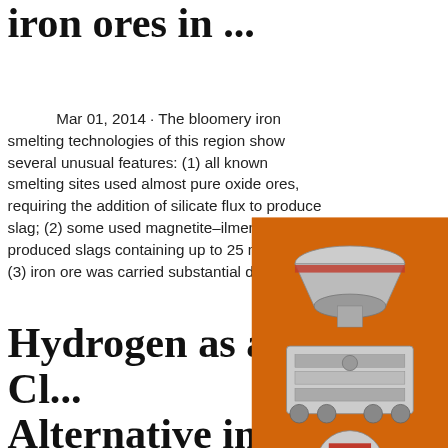iron ores in ...
Mar 01, 2014 · The bloomery iron smelting technologies of this region show several unusual features: (1) all known smelting sites used almost pure oxide ores, requiring the addition of silicate flux to produce slag; (2) some used magnetite–ilmen... that produced slags containing up to 25 mass... and (3) iron ore was carried substantial distan...
Hydrogen as a Cl... Alternative in the... Iron and Steel ...
[Figure (photo): Advertisement banner with orange background showing industrial mining/crushing machines (cone crusher, jaw crusher, vertical shaft impactor). Includes 'Enjoy 3% discount', 'Click to Chat' button in yellow, 'Enquiry' section, and contact email limingjlmofen@sina.com]
Nov 25, 2019 · German company thyssen... Steel is also looking to decarbonize its produc... processes with hydrogen. In April of 2019, the... manufacturer received a grant from IN4climate.NRW, a government initiative to support climate related